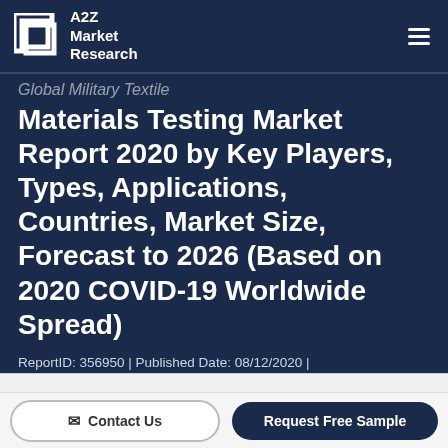A2Z Market Research
Global Military Textile Materials Testing Market Report 2020 by Key Players, Types, Applications, Countries, Market Size, Forecast to 2026 (Based on 2020 COVID-19 Worldwide Spread)
ReportID: 356950 | Published Date: 08/12/2020 | No. of Pages: 130 | Categories: Aerospace And Defense | Formate :
Contact Us   Request Free Sample